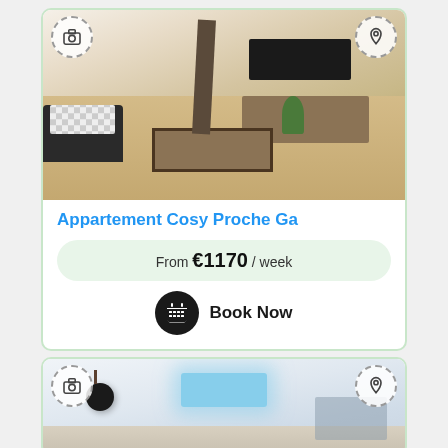[Figure (photo): Apartment listing card showing a cozy living room interior with wooden floor, TV unit, coffee table, sofa with patterned cushion, and dining area in background]
Appartement Cosy Proche Ga
From €1170 / week
Book Now
[Figure (photo): Second apartment listing card showing an interior with skylight, round wall clock, dining table, and kitchen area]